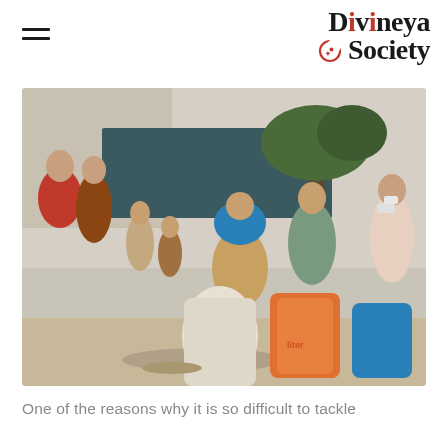Divineya Society
[Figure (photo): Group of people including women in colorful saris and hijabs, children, and young adults gathered outdoors in a poor neighborhood. Large sacks/bags of supplies are on the ground in the foreground. A woman in a blue hijab sits centrally. Some people are wearing face masks.]
One of the reasons why it is so difficult to tackle